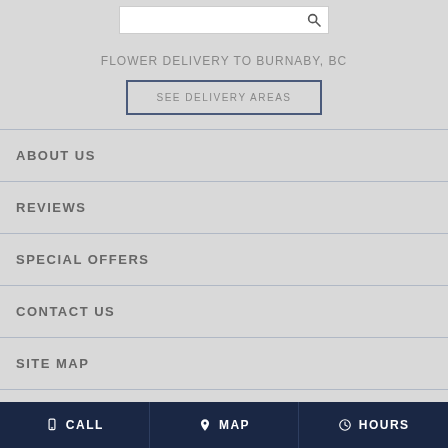[Figure (other): Search bar with magnifying glass icon]
FLOWER DELIVERY TO BURNABY, BC
SEE DELIVERY AREAS
ABOUT US
REVIEWS
SPECIAL OFFERS
CONTACT US
SITE MAP
CALL   MAP   HOURS